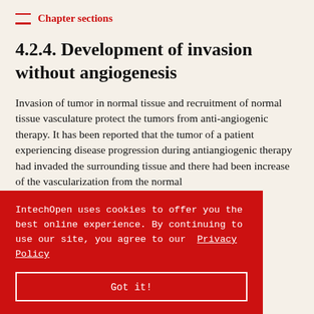Chapter sections
4.2.4. Development of invasion without angiogenesis
Invasion of tumor in normal tissue and recruitment of normal tissue vasculature protect the tumors from anti-angiogenic therapy. It has been reported that the tumor of a patient experiencing disease progression during antiangiogenic therapy had invaded the surrounding tissue and there had been increase of the vascularization from the normal
ors
s explained. It is supposed to be the result of activation of
IntechOpen uses cookies to offer you the best online experience. By continuing to use our site, you agree to our Privacy Policy